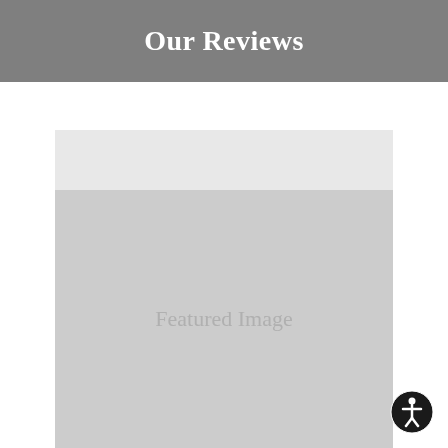Our Reviews
[Figure (other): Featured Image placeholder with light gray top section and medium gray main area containing the text 'Featured Image']
[Figure (other): Accessibility icon button (person in circle) in bottom right corner]